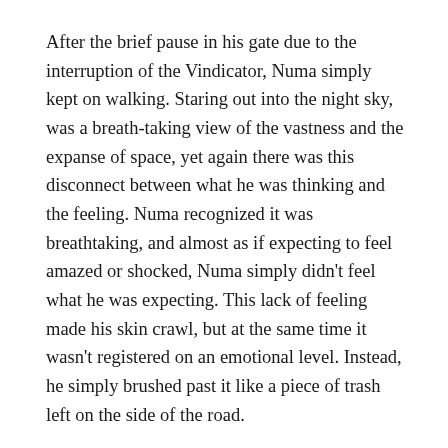After the brief pause in his gate due to the interruption of the Vindicator, Numa simply kept on walking. Staring out into the night sky, was a breath-taking view of the vastness and the expanse of space, yet again there was this disconnect between what he was thinking and the feeling. Numa recognized it was breathtaking, and almost as if expecting to feel amazed or shocked, Numa simply didn't feel what he was expecting. This lack of feeling made his skin crawl, but at the same time it wasn't registered on an emotional level. Instead, he simply brushed past it like a piece of trash left on the side of the road.
Quickly making his way past the windowed hallway, Numa passed out of the private quarters (usually reserved for foreign dignitaries or visiting nobles) and into the main compartment of the ships. Not having to look behind him, Numa could hear the lurching vindicator walking slowly yet efficiently behind him. Almost immediately after leaving the